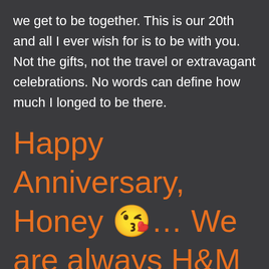we get to be together. This is our 20th and all I ever wish for is to be with you. Not the gifts, not the travel or extravagant celebrations. No words can define how much I longed to be there.
Happy Anniversary, Honey 😘… We are always H&M and you will always be my Alter Ego..